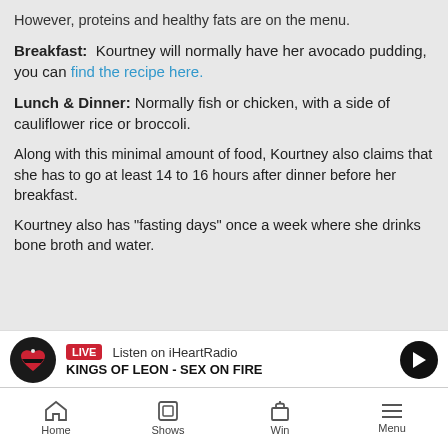However, proteins and healthy fats are on the menu.
Breakfast: Kourtney will normally have her avocado pudding, you can find the recipe here.
Lunch & Dinner: Normally fish or chicken, with a side of cauliflower rice or broccoli.
Along with this minimal amount of food, Kourtney also claims that she has to go at least 14 to 16 hours after dinner before her breakfast.
Kourtney also has "fasting days" once a week where she drinks bone broth and water.
[Figure (other): iHeartRadio live banner showing Kings of Leon - Sex on Fire with play button]
Home | Shows | Win | Menu